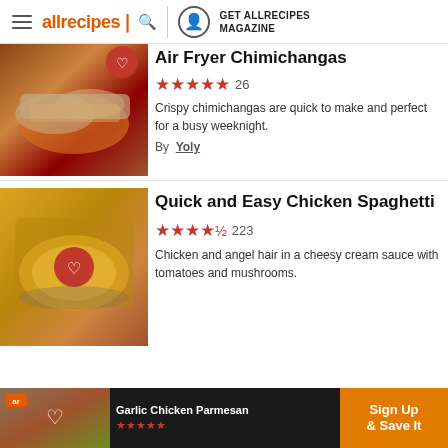allrecipes | GET ALLRECIPES MAGAZINE
Air Fryer Chimichangas
★★★★★ 26
Crispy chimichangas are quick to make and perfect for a busy weeknight.
By Yoly
Quick and Easy Chicken Spaghetti
★★★★½ 223
Chicken and angel hair in a cheesy cream sauce with tomatoes and mushrooms.
Garlic Chicken Parmesan Sign Up & Save It